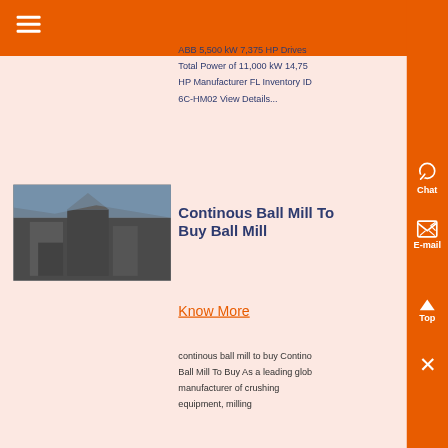ABB 5,500 kW 7,375 HP Drives Total Power of 11,000 kW 14,75 HP Manufacturer FL Inventory ID 6C-HM02 View Details...
[Figure (photo): Black and white photo of industrial ball mill equipment outdoors]
Continous Ball Mill To Buy Ball Mill
Know More
continous ball mill to buy Continous Ball Mill To Buy As a leading global manufacturer of crushing equipment, milling